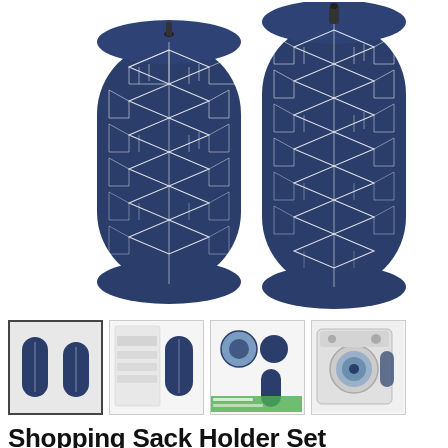[Figure (photo): Two cylindrical shopping bag holders with navy blue and white geometric cube pattern fabric, shown standing upright. The left one is shorter/more upright, the right one is taller. Both have a dark zipper or toggle at the top. White background.]
[Figure (photo): Four product thumbnail images in a row: 1) Two navy geometric cylindrical bag holders lying flat. 2) Product packaging/info sheet with a bag holder image. 3) Product showing circular laundry ball accessories and a bag holder. 4) A washing machine with a bag holder.]
Shopping Sack Holder Set of 2 For Foldable Plastic...